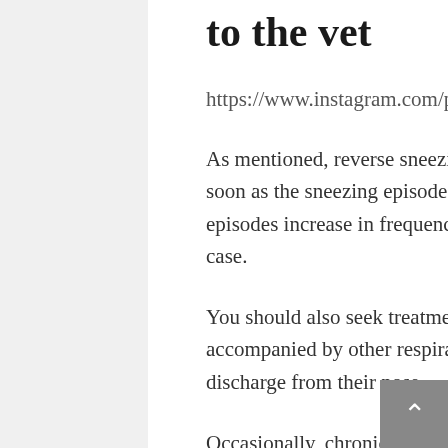to the vet
https://www.instagram.com/p/BfoSLvBAsDL/?utm_source=ig_embed
As mentioned, reverse sneezing rarely requires veterinary treatment. As soon as the sneezing episode stops, the situation is resolved. However, if episodes increase in frequency or duration, you should call the vet just in case.
You should also seek treatment if your dog's reverse sneezing is accompanied by other respiratory symptoms or if they have any unusual discharge from their nose.
Occasionally, chronic reverse sneezing can be a symptom of more serious issues. These include nasal mites, foreign objects in the airway, respiratory